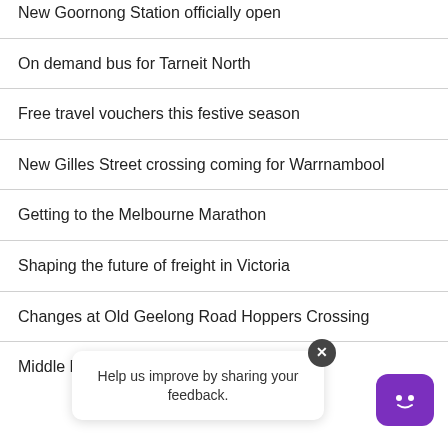New Goornong Station officially open
On demand bus for Tarneit North
Free travel vouchers this festive season
New Gilles Street crossing coming for Warrnambool
Getting to the Melbourne Marathon
Shaping the future of freight in Victoria
Changes at Old Geelong Road Hoppers Crossing
Middle Brig…